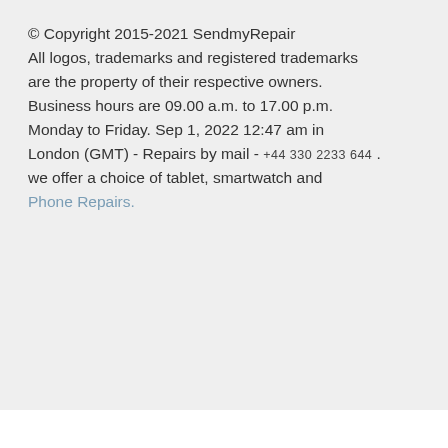© Copyright 2015-2021 SendmyRepair All logos, trademarks and registered trademarks are the property of their respective owners. Business hours are 09.00 a.m. to 17.00 p.m. Monday to Friday. Sep 1, 2022 12:47 am in London (GMT) - Repairs by mail - +44 330 2233 644 . we offer a choice of tablet, smartwatch and Phone Repairs.